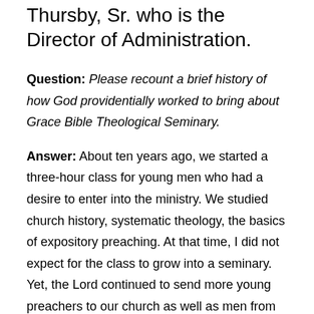Thursby, Sr. who is the Director of Administration.
Question: Please recount a brief history of how God providentially worked to bring about Grace Bible Theological Seminary.
Answer: About ten years ago, we started a three-hour class for young men who had a desire to enter into the ministry. We studied church history, systematic theology, the basics of expository preaching. At that time, I did not expect for the class to grow into a seminary. Yet, the Lord continued to send more young preachers to our church as well as men from other churches with a desire to be equipped for ministry. Though this growth the Lord provided the opportunity for us to